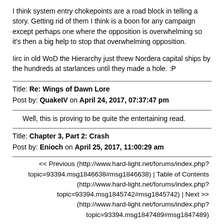I think system entry chokepoints are a road block in telling a story. Getting rid of them I think is a boon for any campaign except perhaps one where the opposition is overwhelming so it's then a big help to stop that overwhelming opposition.
Iirc in old WoD the Hierarchy just threw Nordera capital ships by the hundreds at starlances until they made a hole. :P
Title: Re: Wings of Dawn Lore
Post by: QuakeIV on April 24, 2017, 07:37:47 pm
Well, this is proving to be quite the entertaining read.
Title: Chapter 3, Part 2: Crash
Post by: Enioch on April 25, 2017, 11:00:29 am
<< Previous (http://www.hard-light.net/forums/index.php?topic=93394.msg1846638#msg1846638) | Table of Contents (http://www.hard-light.net/forums/index.php?topic=93394.msg1845742#msg1845742) | Next >> (http://www.hard-light.net/forums/index.php?topic=93394.msg1847489#msg1847489)
"Squadron 3 reports enemy contact, Sir!" Comms Officer Guillen screamed (considerably louder than was warranted, Aretha Pegasus noted) and Champion Simmons near-